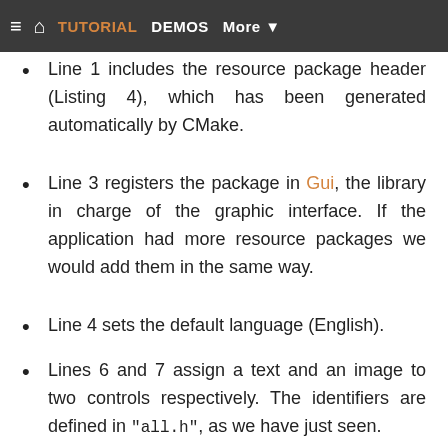≡ 🏠 TUTORIAL DEMOS More ▼
Line 1 includes the resource package header (Listing 4), which has been generated automatically by CMake.
Line 3 registers the package in Gui, the library in charge of the graphic interface. If the application had more resource packages we would add them in the same way.
Line 4 sets the default language (English).
Lines 6 and 7 assign a text and an image to two controls respectively. The identifiers are defined in "all.h", as we have just seen.
Line 13 translates the entire interface in response to a change in control PopUp (Figure 8).